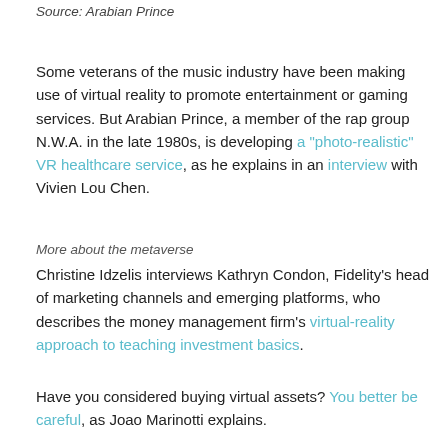Source: Arabian Prince
Some veterans of the music industry have been making use of virtual reality to promote entertainment or gaming services. But Arabian Prince, a member of the rap group N.W.A. in the late 1980s, is developing a "photo-realistic" VR healthcare service, as he explains in an interview with Vivien Lou Chen.
More about the metaverse
Christine Idzelis interviews Kathryn Condon, Fidelity's head of marketing channels and emerging platforms, who describes the money management firm's virtual-reality approach to teaching investment basics.
Have you considered buying virtual assets? You better be careful, as Joao Marinotti explains.